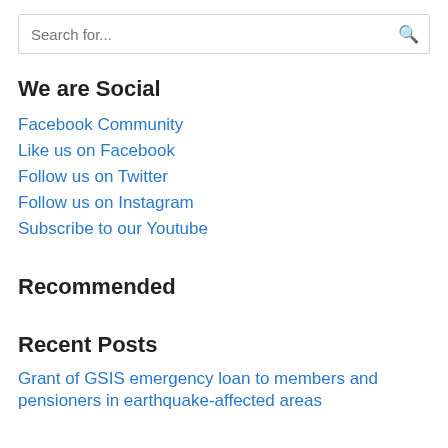[Figure (other): Search bar with placeholder text 'Search for...' and a search icon on the right]
We are Social
Facebook Community
Like us on Facebook
Follow us on Twitter
Follow us on Instagram
Subscribe to our Youtube
Recommended
Recent Posts
Grant of GSIS emergency loan to members and pensioners in earthquake-affected areas